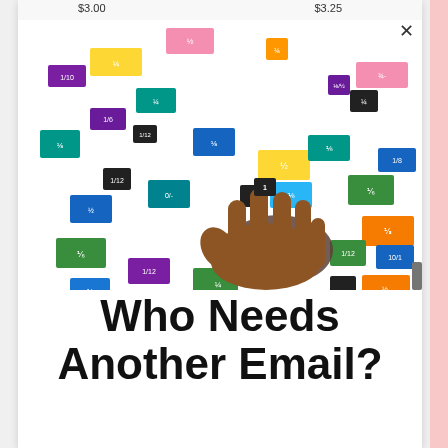$3.00   $3.25
[Figure (photo): A child's hand holding a small black fraction tile among many colorful fraction tiles scattered on a white surface. Tiles show various fractions and are in colors including blue, green, purple, orange, teal, yellow, pink, and black.]
Who Needs Another Email?